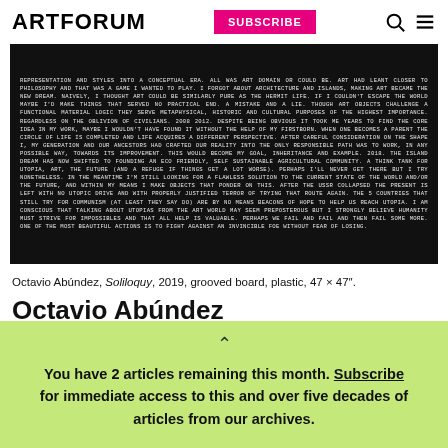ARTFORUM | SUBSCRIBE
[Figure (photo): Black artwork panel with dense white monospace text on dark background — Octavio Abúndez Soliloquy artwork showing a long philosophical text statement]
Octavio Abúndez, Soliloquy, 2019, grooved board, plastic, 47 × 47".
Octavio Abúndez
You have 2 articles remaining this month. Subscribe for immediate access to this and over five decades of articles from our archives.